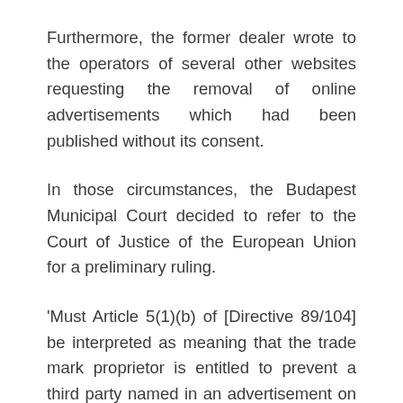Furthermore, the former dealer wrote to the operators of several other websites requesting the removal of online advertisements which had been published without its consent.
In those circumstances, the Budapest Municipal Court decided to refer to the Court of Justice of the European Union for a preliminary ruling.
‘Must Article 5(1)(b) of [Directive 89/104] be interpreted as meaning that the trade mark proprietor is entitled to prevent a third party named in an advertisement on the internet, even though the advertisement was not placed on the internet by the person featuring in it or on his behalf, or it is possible to access that advertisement on the internet despite the fact that the person named in it took all